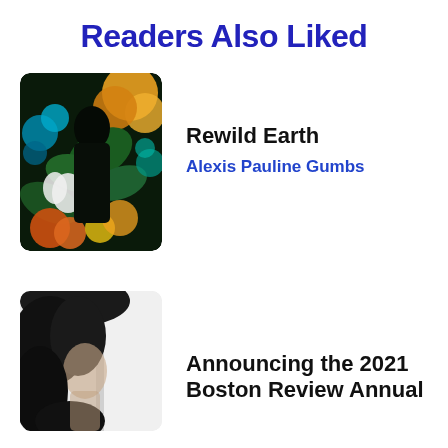Readers Also Liked
[Figure (illustration): Book cover of 'Rewild Earth' featuring a colorful painting with tropical flowers and foliage on a dark background]
Rewild Earth
Alexis Pauline Gumbs
[Figure (photo): Book cover showing a partially visible face with dark hair against a light background]
Announcing the 2021 Boston Review Annual